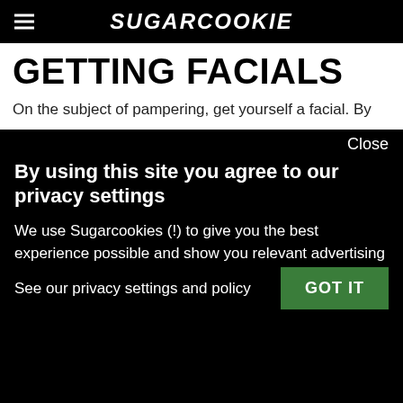SUGARCOOKIE
GETTING FACIALS
On the subject of pampering, get yourself a facial. By
Close
By using this site you agree to our privacy settings
We use Sugarcookies (!) to give you the best experience possible and show you relevant advertising
See our privacy settings and policy
GOT IT